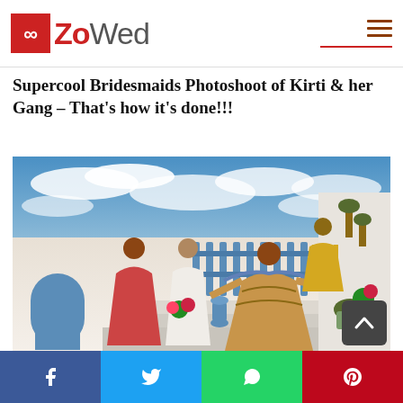ZoWed
Supercool Bridesmaids Photoshoot of Kirti & her Gang – That's how it's done!!!
[Figure (photo): Group photo of bridesmaids and bride in colorful Indian traditional dresses (lehengas) posing in a white Mediterranean-style setting with blue gate, stairs, and flower pots under a dramatic sky]
Social sharing bar: Facebook, Twitter, WhatsApp, Pinterest